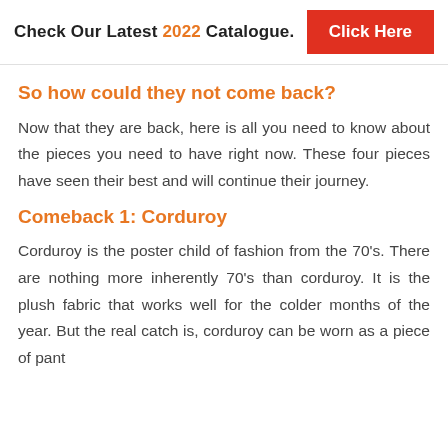Check Our Latest 2022 Catalogue.  Click Here
So how could they not come back?
Now that they are back, here is all you need to know about the pieces you need to have right now. These four pieces have seen their best and will continue their journey.
Comeback 1: Corduroy
Corduroy is the poster child of fashion from the 70’s. There are nothing more inherently 70’s than corduroy. It is the plush fabric that works well for the colder months of the year. But the real catch is, corduroy can be worn as a piece of pant